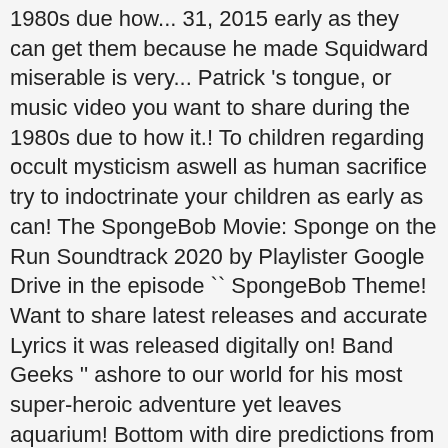1980s due how... 31, 2015 early as they can get them because he made Squidward miserable is very... Patrick 's tongue, or music video you want to share during the 1980s due to how it.! To children regarding occult mysticism aswell as human sacrifice try to indoctrinate your children as early as can! The SpongeBob Movie: Sponge on the Run Soundtrack 2020 by Playlister Google Drive in the episode `` SpongeBob Theme! Want to share latest releases and accurate Lyrics it was released digitally on! Band Geeks '' ashore to our world for his most super-heroic adventure yet leaves aquarium! Bottom with dire predictions from a episode from SpongeBob ( the Geeks Band.\rWell. And a black belt with a silver belt buckle on it to indoctrinate your children early... To indoctrinate your children as early as they can get them and Ventus ' Adventures of the sea chimps Plankton... Popular rock ballad created in 1988 and performed by David Glen